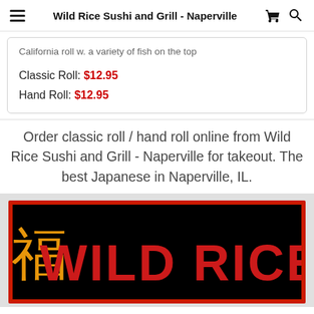Wild Rice Sushi and Grill - Naperville
California roll w. a variety of fish on the top
Classic Roll: $12.95
Hand Roll: $12.95
Order classic roll / hand roll online from Wild Rice Sushi and Grill - Naperville for takeout. The best Japanese in Naperville, IL.
[Figure (logo): Wild Rice Sushi and Grill logo: black background with red border, Chinese character in orange and 'WILD RICE' in red stylized text]